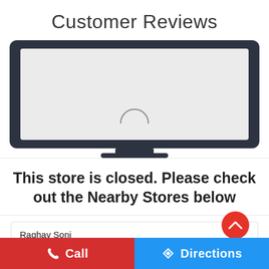Customer Reviews
[Figure (illustration): A laptop/monitor illustration (dark frame) showing a loading spinner arc on a light gray screen background.]
This store is closed. Please check out the Nearby Stores below
Raghav Soni
Posted on: 04-07-2020
Rated ★★★★★ 5
Call   Directions